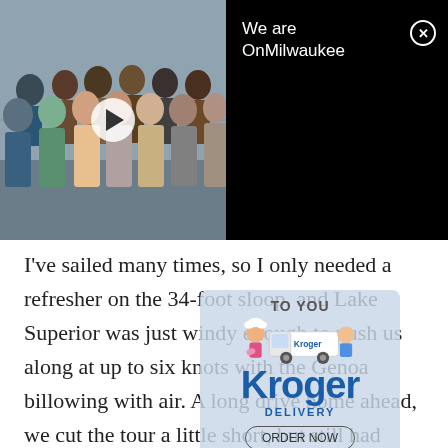[Figure (photo): Group photo of OnMilwaukee team members standing together, with a video play button overlay. Black panel on the right shows the title 'We are OnMilwaukee' with a close (X) button.]
I've sailed many times, so I only needed a refresher on the 34-foot sloop, and Lake Superior was just windy enough to push us along at up to six knots with the Genoa billowing with air. A long drive home ahead, we cut the tour a little short, but still had time to tack out Basswood Island and to hear some great stories from the unassuming locals who were more than happy to share. This was a great way to get a feel for the nautical side of Bayfield, if sea kayaking is a little too intense for you. Silent and serene, there's something so
[Figure (screenshot): Kroger Delivery ad overlay with 'TO YOU', Kroger logo, DELIVERY text, ORDER NOW button, PROUDLY SERVING text, metro and market branding, and cartoon delivery van with characters.]